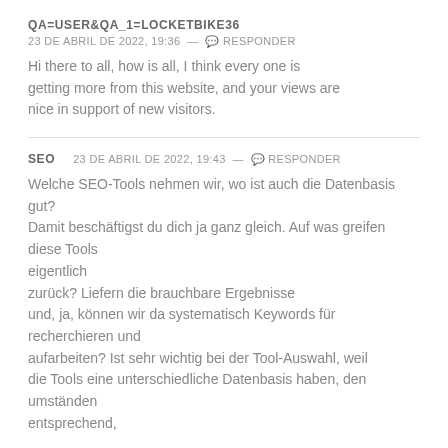QA=USER&QA_1=LOCKETBIKE36
23 DE ABRIL DE 2022, 19:36 — 💬 RESPONDER
Hi there to all, how is all, I think every one is getting more from this website, and your views are nice in support of new visitors.
SEO      23 DE ABRIL DE 2022, 19:43 — 💬 RESPONDER
Welche SEO-Tools nehmen wir, wo ist auch die Datenbasis gut? Damit beschäftigst du dich ja ganz gleich. Auf was greifen diese Tools eigentlich zurück? Liefern die brauchbare Ergebnisse und, ja, können wir da systematisch Keywords für recherchieren und aufarbeiten? Ist sehr wichtig bei der Tool-Auswahl, weil die Tools eine unterschiedliche Datenbasis haben, den umständen entsprechend,
HTTP://WWW.BIAGIODANIELLOFLASH.COM/HOME/INDEX.PHP?